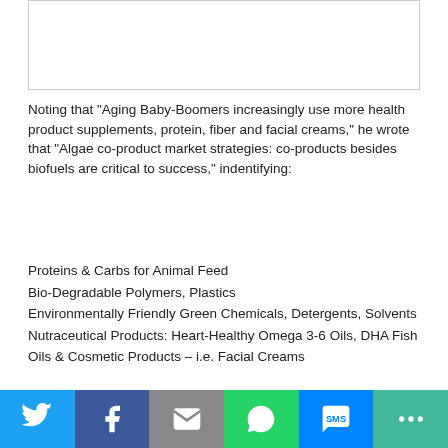[Figure (other): Empty image placeholder box at top of page]
Noting that “Aging Baby-Boomers increasingly use more health product supplements, protein, fiber and facial creams,” he wrote that “Algae co-product market strategies: co-products besides biofuels are critical to success,” indentifying:
Proteins & Carbs for Animal Feed
Bio-Degradable Polymers, Plastics
Environmentally Friendly Green Chemicals, Detergents, Solvents
Nutraceutical Products: Heart-Healthy Omega 3-6 Oils, DHA Fish Oils & Cosmetic Products – i.e. Facial Creams
[Figure (other): Empty image placeholder box in lower portion of page]
Social share bar: Twitter, Facebook, Email, WhatsApp, SMS, More